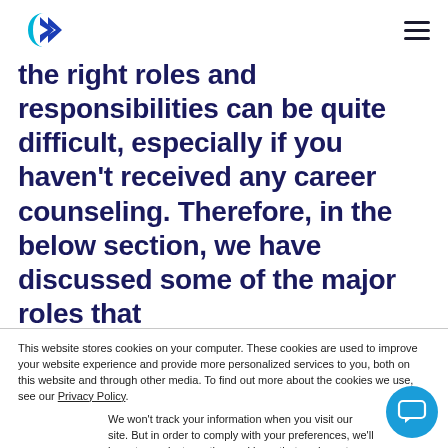[Logo] [Hamburger menu]
the right roles and responsibilities can be quite difficult, especially if you haven't received any career counseling. Therefore, in the below section, we have discussed some of the major roles that
This website stores cookies on your computer. These cookies are used to improve your website experience and provide more personalized services to you, both on this website and through other media. To find out more about the cookies we use, see our Privacy Policy.
We won't track your information when you visit our site. But in order to comply with your preferences, we'll have to use just one tiny cookie so that you're not asked to make this choice again.